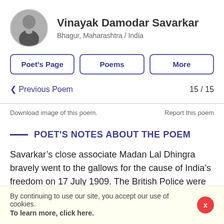Vinayak Damodar Savarkar
Bhagur, Maharashtra / India
Poet's Page
Poems
More
< Previous Poem   15 / 15
Download image of this poem.
Report this poem
POET'S NOTES ABOUT THE POEM
Savarkar’s close associate Madan Lal Dhingra bravely went to the gallows for the cause of India’s freedom on 17 July 1909. The British Police were now keenly shadowing Savarkar. Dhingra’s martyrdom and the
By continuing to use our site, you accept our use of cookies.
To learn more, click here.